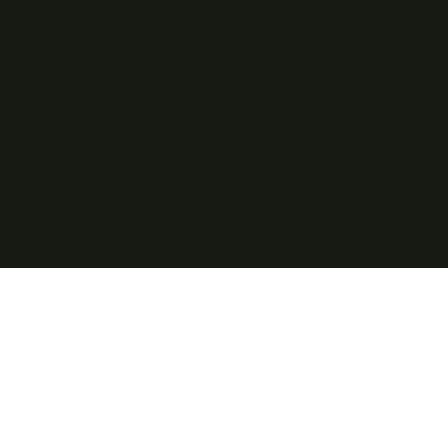[Figure (photo): Dark/black background photograph occupying the upper portion of the page]
My approaches